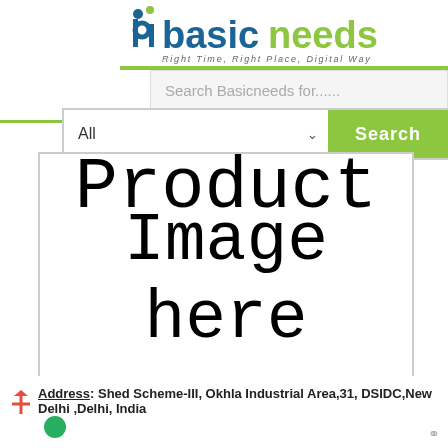[Figure (logo): basicneeds logo with blue 'bi' icon and green/blue text, tagline: Right Time, Right Place, Digital Way]
Search Basicneeds for......
All   Search
[Figure (screenshot): Product Image here placeholder box with large bold text]
Address: Shed Scheme-III, Okhla Industrial Area,31, DSIDC,New Delhi ,Delhi, India